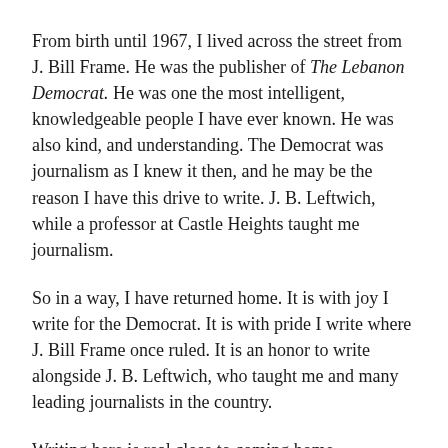From birth until 1967, I lived across the street from J. Bill Frame. He was the publisher of The Lebanon Democrat. He was one the most intelligent, knowledgeable people I have ever known. He was also kind, and understanding. The Democrat was journalism as I knew it then, and he may be the reason I have this drive to write. J. B. Leftwich, while a professor at Castle Heights taught me journalism.
So in a way, I have returned home. It is with joy I write for the Democrat. It is with pride I write where J. Bill Frame once ruled. It is an honor to write alongside J. B. Leftwich, who taught me and many leading journalists in the country.
Writing here is real close to coming home.
I hope you enjoy the read. I know I will enjoy the ride.